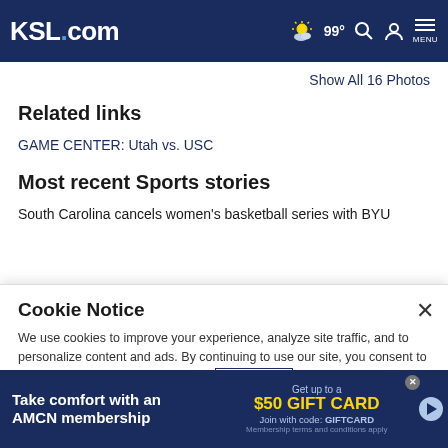KSL.com  99°  MENU
Show All 16 Photos
Related links
GAME CENTER: Utah vs. USC
Most recent Sports stories
South Carolina cancels women's basketball series with BYU
Cookie Notice
We use cookies to improve your experience, analyze site traffic, and to personalize content and ads. By continuing to use our site, you consent to our use of cookies. Please visit our Terms of Use and  Privacy Policy for more information
Take comfort with an AMCN membership  Get up to a $50 GIFT CARD  Join with code: GIFTCARD  Membership terms and conditions apply